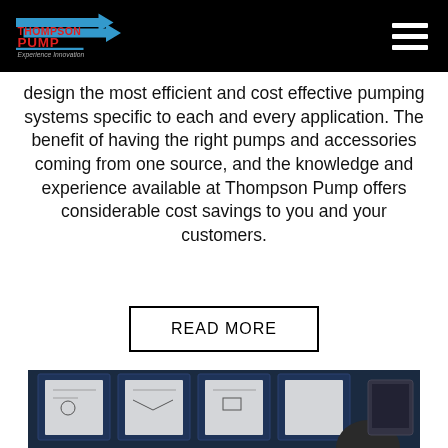Thompson Pump — Experience Innovation (navigation header with logo and hamburger menu)
design the most efficient and cost effective pumping systems specific to each and every application. The benefit of having the right pumps and accessories coming from one source, and the knowledge and experience available at Thompson Pump offers considerable cost savings to you and your customers.
READ MORE
[Figure (photo): A person standing in front of several dark blue boards with engineering diagrams and documentation pinned to them, viewed from behind/side.]